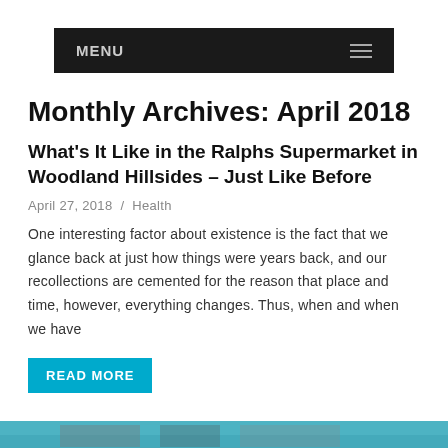MENU
Monthly Archives: April 2018
What's It Like in the Ralphs Supermarket in Woodland Hillsides – Just Like Before
April 27, 2018  /  Health
One interesting factor about existence is the fact that we glance back at just how things were years back, and our recollections are cemented for the reason that place and time, however, everything changes. Thus, when and when we have
READ MORE
[Figure (photo): Thumbnail image strip at the bottom of the page]